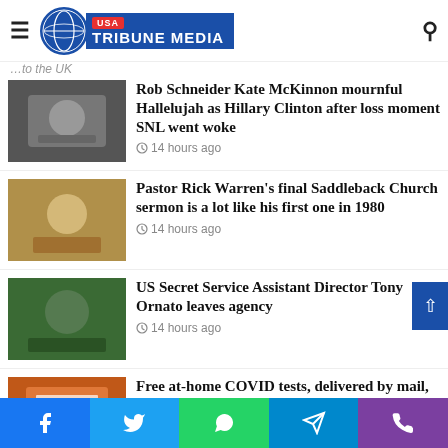USA Tribune Media
...to the UK
Rob Schneider Kate McKinnon mournful Hallelujah as Hillary Clinton after loss moment SNL went woke
14 hours ago
Pastor Rick Warren's final Saddleback Church sermon is a lot like his first one in 1980
14 hours ago
US Secret Service Assistant Director Tony Ornato leaves agency
14 hours ago
Free at-home COVID tests, delivered by mail, ending this week
15 hours ago
H...
Facebook Twitter WhatsApp Telegram Phone